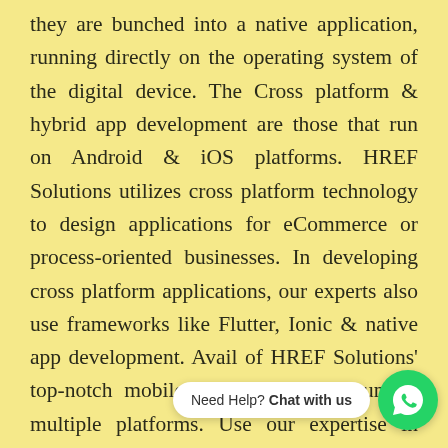they are bunched into a native application, running directly on the operating system of the digital device. The Cross platform & hybrid app development are those that run on Android & iOS platforms. HREF Solutions utilizes cross platform technology to design applications for eCommerce or process-oriented businesses. In developing cross platform applications, our experts also use frameworks like Flutter, Ionic & native app development. Avail of HREF Solutions' top-notch mobile applications that run on multiple platforms. Use our expertise in cross platform mobile app development for providing your users with an app that suits their operating systems perfectly. We also utilize d, expertise in hybrid applications to g alternative to reduce costs & time-to-
[Figure (other): WhatsApp chat widget with green circle icon and speech bubble saying 'Need Help? Chat with us']